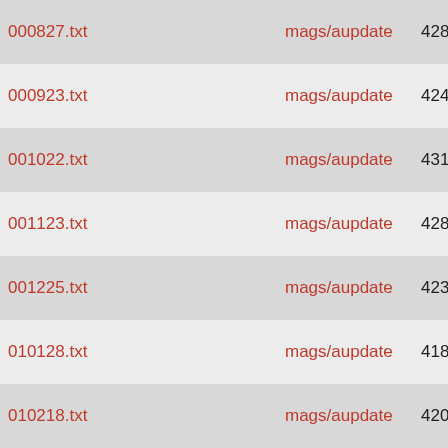| filename |  | path | num | size | date |
| --- | --- | --- | --- | --- | --- |
| 000827.txt |  | mags/aupdate | 4288 | 53K | 2002-10-2 |
| 000923.txt |  | mags/aupdate | 4243 | 42K | 2002-10-2 |
| 001022.txt |  | mags/aupdate | 4310 | 45K | 2002-10-2 |
| 001123.txt |  | mags/aupdate | 4287 | 40K | 2002-10-2 |
| 001225.txt |  | mags/aupdate | 4234 | 36K | 2002-10-2 |
| 010128.txt |  | mags/aupdate | 4180 | 31K | 2002-10-0 |
| 010218.txt |  | mags/aupdate | 4204 | 32K | 2002-10-0 |